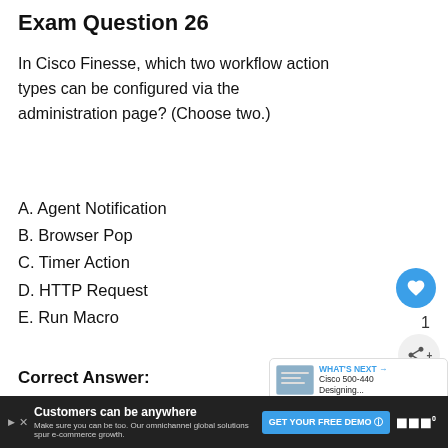Exam Question 26
In Cisco Finesse, which two workflow action types can be configured via the administration page? (Choose two.)
A. Agent Notification
B. Browser Pop
C. Timer Action
D. HTTP Request
E. Run Macro
Correct Answer:
B. Browser Pop
D. HTTP Request